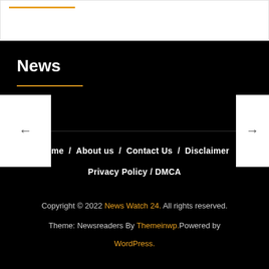[Figure (other): Orange decorative underline bar at top of page]
News
Home / About us / Contact Us / Disclaimer Privacy Policy / DMCA
Copyright © 2022 News Watch 24. All rights reserved. Theme: Newsreaders By Themeinwp.Powered by WordPress.